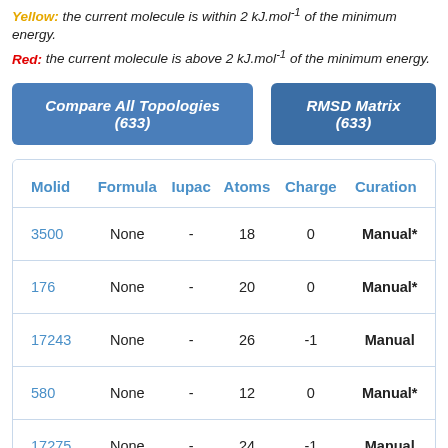Yellow: the current molecule is within 2 kJ.mol-1 of the minimum energy.
Red: the current molecule is above 2 kJ.mol-1 of the minimum energy.
Compare All Topologies (633)
RMSD Matrix (633)
| Molid | Formula | Iupac | Atoms | Charge | Curation |
| --- | --- | --- | --- | --- | --- |
| 3500 | None | - | 18 | 0 | Manual* |
| 176 | None | - | 20 | 0 | Manual* |
| 17243 | None | - | 26 | -1 | Manual |
| 580 | None | - | 12 | 0 | Manual* |
| 17275 | None | - | 24 | -1 | Manual |